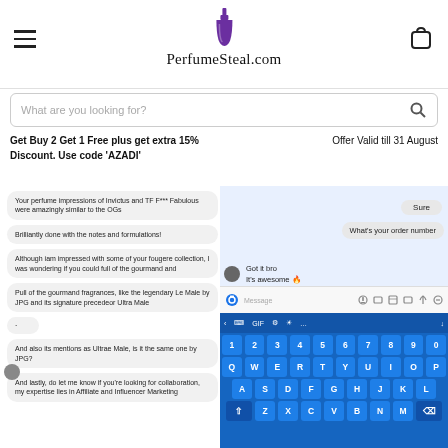[Figure (screenshot): PerfumeSteal.com website header with hamburger menu, perfume bottle logo, site name, cart icon, search bar, promotional banner, and a chat/screenshot section below]
PerfumeSteal.com
What are you looking for?
Get Buy 2 Get 1 Free plus get extra 15% Discount. Use code 'AZADI'
Offer Valid till 31 August
Your perfume impressions of Invictus and TF F*** Fabulous were amazingly similar to the OGs
Brilliantly done with the notes and formulations!
Although iam impressed with some of your fougere collection, I was wondering if you could full of the gourmand and
Pull of the gourmand fragrances, like the legendary Le Male by JPG and its signature precedeor Ultra Male
And also its mentions as Ultrae Male, is it the same one by JPG?
And lastly, do let me know if you're looking for collaboration, my expertise lies in Affiliate and Influencer Marketing
Sure
What's your order number
Got it bro
It's awesome 🔥